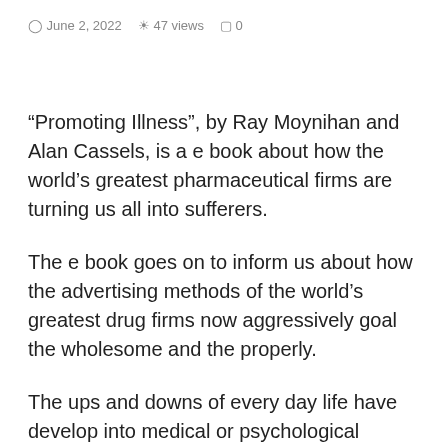June 2, 2022   47 views   0
“Promoting Illness”, by Ray Moynihan and Alan Cassels, is a e book about how the world’s greatest pharmaceutical firms are turning us all into sufferers.
The e book goes on to inform us about how the advertising methods of the world’s greatest drug firms now aggressively goal the wholesome and the properly.
The ups and downs of every day life have develop into medical or psychological problems,